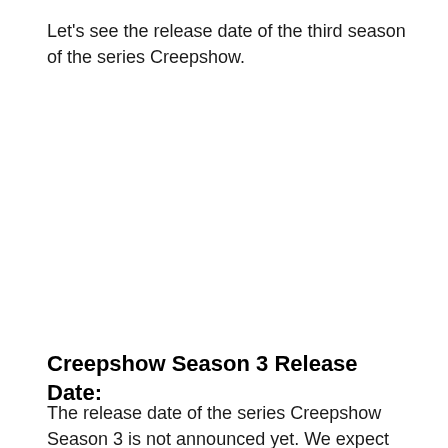Let's see the release date of the third season of the series Creepshow.
Creepshow Season 3 Release Date:
The release date of the series Creepshow Season 3 is not announced yet. We expect that it will soon be